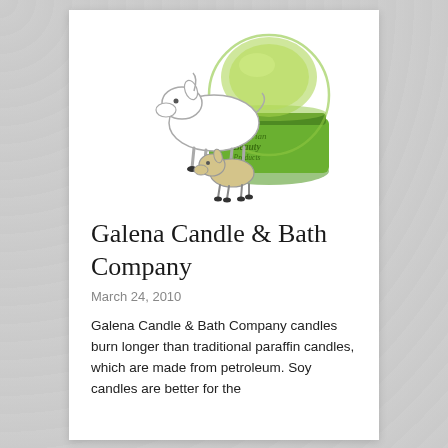[Figure (logo): Vegetarian Beauty Products logo featuring a white goat illustration leaning over a green jar/candle container, with a small baby goat beside it. The jar is green with a domed lid and the brand name 'Vegetarian Beauty Products' is written on it.]
Galena Candle & Bath Company
March 24, 2010
Galena Candle & Bath Company candles burn longer than traditional paraffin candles, which are made from petroleum. Soy candles are better for the